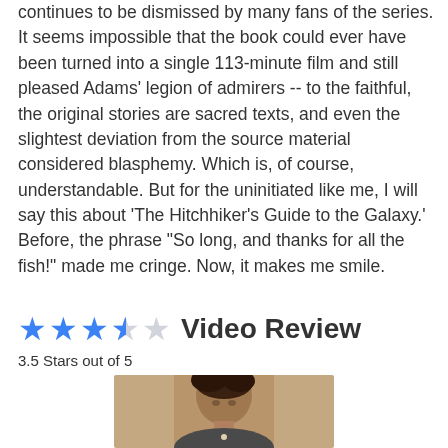continues to be dismissed by many fans of the series. It seems impossible that the book could ever have been turned into a single 113-minute film and still pleased Adams' legion of admirers -- to the faithful, the original stories are sacred texts, and even the slightest deviation from the source material considered blasphemy. Which is, of course, understandable. But for the uninitiated like me, I will say this about 'The Hitchhiker's Guide to the Galaxy.' Before, the phrase "So long, and thanks for all the fish!" made me cringe. Now, it makes me smile.
★★★✩☆ Video Review
3.5 Stars out of 5
[Figure (photo): Photo of a person, partially visible from shoulders up, appearing to be a male with dark hair, cropped at bottom of page]